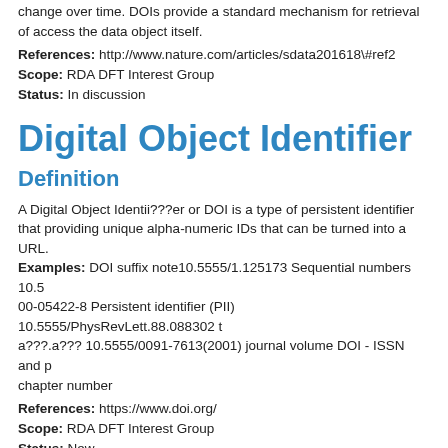change over time. DOIs provide a standard mechanism for retrieval of... access the data object itself.
References: http://www.nature.com/articles/sdata201618\#ref2
Scope: RDA DFT Interest Group
Status: In discussion
Digital Object Identifier
Definition
A Digital Object Identii???er or DOI is a type of persistent identifier that providing unique alpha-numeric IDs that can be turned into a URL. Examples: DOI suffix note10.5555/1.125173 Sequential numbers 10.5... 00-05422-8 Persistent identifier (PII) 10.5555/PhysRevLett.88.088302 ... a???.a??? 10.5555/0091-7613(2001) journal volume DOI - ISSN and p... chapter number
References: https://www.doi.org/
Scope: RDA DFT Interest Group
Status: New